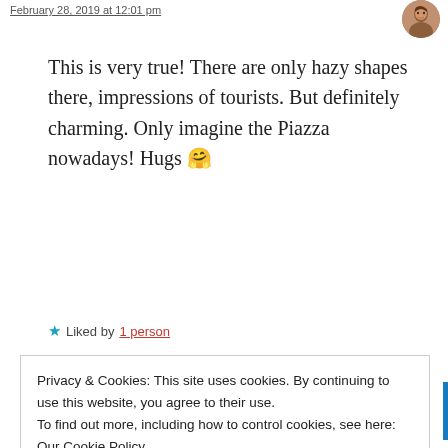February 28, 2019 at 12:01 pm
This is very true! There are only hazy shapes there, impressions of tourists. But definitely charming. Only imagine the Piazza nowadays! Hugs 🤗
★ Liked by 1 person
Privacy & Cookies: This site uses cookies. By continuing to use this website, you agree to their use. To find out more, including how to control cookies, see here: Our Cookie Policy
Close and accept